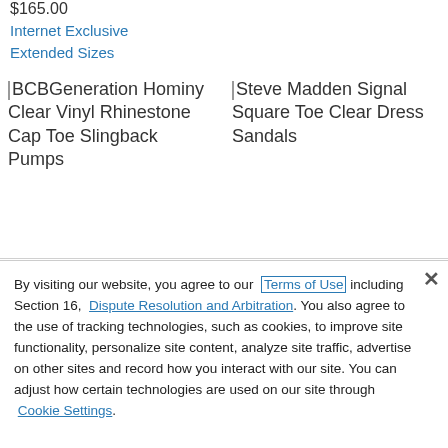$165.00
Internet Exclusive
Extended Sizes
[Figure (illustration): BCBGeneration Hominy Clear Vinyl Rhinestone Cap Toe Slingback Pumps product image placeholder (broken image icon)]
BCBGeneration Hominy Clear Vinyl Rhinestone Cap Toe Slingback Pumps
[Figure (illustration): Steve Madden Signal Square Toe Clear Dress Sandals product image placeholder (broken image icon)]
Steve Madden Signal Square Toe Clear Dress Sandals
By visiting our website, you agree to our Terms of Use including Section 16, Dispute Resolution and Arbitration. You also agree to the use of tracking technologies, such as cookies, to improve site functionality, personalize site content, analyze site traffic, advertise on other sites and record how you interact with our site. You can adjust how certain technologies are used on our site through Cookie Settings.